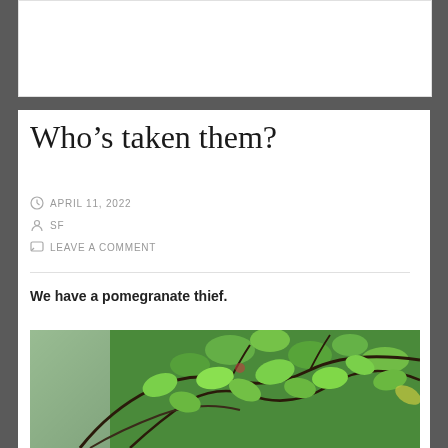Who’s taken them?
APRIL 11, 2022
SF
LEAVE A COMMENT
We have a pomegranate thief.
[Figure (photo): Photo of a pomegranate tree with green leaves and branches, with a building visible in the background]